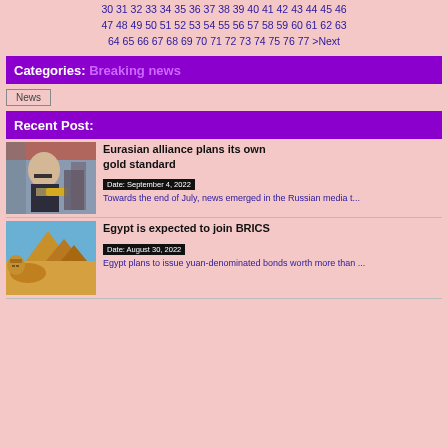30 31 32 33 34 35 36 37 38 39 40 41 42 43 44 45 46 47 48 49 50 51 52 53 54 55 56 57 58 59 60 61 62 63 64 65 66 67 68 69 70 71 72 73 74 75 76 77 >Next
Categories: Breaking news
News
Recent Post:
[Figure (photo): Man in suit holding gold bar]
Eurasian alliance plans its own gold standard
Date: September 4, 2022
Towards the end of July, news emerged in the Russian media t...
[Figure (photo): Great Sphinx and pyramids of Giza]
Egypt is expected to join BRICS
Date: August 30, 2022
Egypt plans to issue yuan-denominated bonds worth more than ...